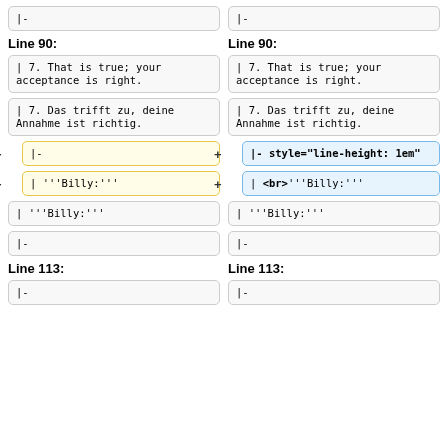|-
|-
Line 90:
Line 90:
| 7. That is true; your acceptance is right.
| 7. That is true; your acceptance is right.
| 7. Das trifft zu, deine Annahme ist richtig.
| 7. Das trifft zu, deine Annahme ist richtig.
|-
|- style="line-height: 1em"
| '''Billy:'''
| <br>'''Billy:'''
| '''Billy:'''
| '''Billy:'''
|-
|-
Line 113:
Line 113:
|-
|-